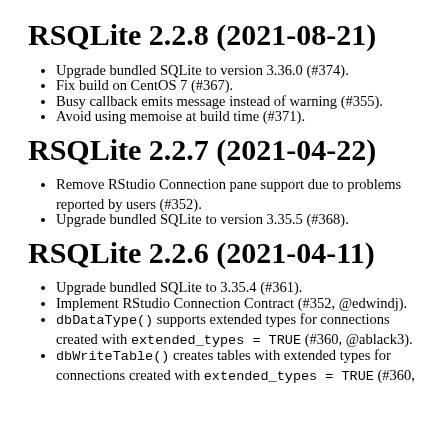RSQLite 2.2.8 (2021-08-21)
Upgrade bundled SQLite to version 3.36.0 (#374).
Fix build on CentOS 7 (#367).
Busy callback emits message instead of warning (#355).
Avoid using memoise at build time (#371).
RSQLite 2.2.7 (2021-04-22)
Remove RStudio Connection pane support due to problems reported by users (#352).
Upgrade bundled SQLite to version 3.35.5 (#368).
RSQLite 2.2.6 (2021-04-11)
Upgrade bundled SQLite to 3.35.4 (#361).
Implement RStudio Connection Contract (#352, @edwindj).
dbDataType() supports extended types for connections created with extended_types = TRUE (#360, @ablack3).
dbWriteTable() creates tables with extended types for connections created with extended_types = TRUE (#360,